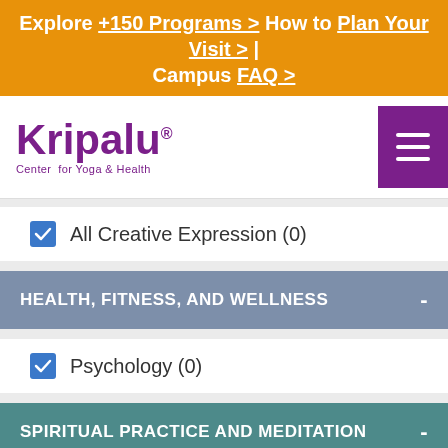Explore +150 Programs > How to Plan Your Visit > | Campus FAQ >
[Figure (logo): Kripalu Center for Yoga & Health logo with purple text and hamburger menu button]
All Creative Expression (0)
HEALTH, FITNESS, AND WELLNESS -
Psychology (0)
SPIRITUAL PRACTICE AND MEDITATION -
Professional Training (0)